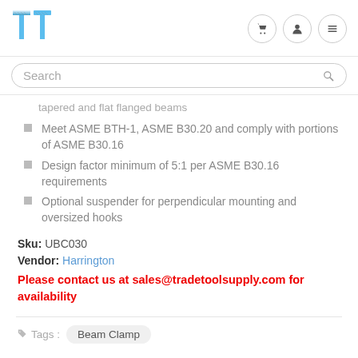TT logo and navigation icons (cart, user, menu)
Search
tapered and flat flanged beams
Meet ASME BTH-1, ASME B30.20 and comply with portions of ASME B30.16
Design factor minimum of 5:1 per ASME B30.16 requirements
Optional suspender for perpendicular mounting and oversized hooks
Sku: UBC030
Vendor: Harrington
Please contact us at sales@tradetoolsupply.com for availability
Tags: Beam Clamp